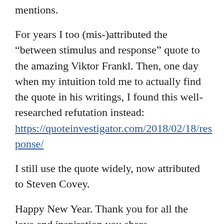mentions.
For years I too (mis-)attributed the “between stimulus and response” quote to the amazing Viktor Frankl. Then, one day when my intuition told me to actually find the quote in his writings, I found this well-researched refutation instead: https://quoteinvestigator.com/2018/02/18/response/
I still use the quote widely, now attributed to Steven Covey.
Happy New Year. Thank you for all the love and inspiration you share.